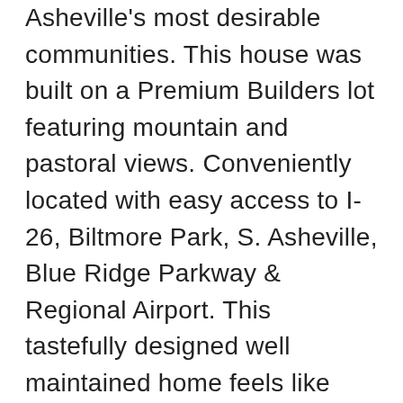Asheville's most desirable communities. This house was built on a Premium Builders lot featuring mountain and pastoral views. Conveniently located with easy access to I-26, Biltmore Park, S. Asheville, Blue Ridge Parkway & Regional Airport. This tastefully designed well maintained home feels like new and is filled with tons of natural light! Primary suite w/walk-in closet on main floor. Laundry rm just off 2 car garage located on main level. Kitchen w/Island great for entertaining, granite counter tops, & closet pantry. Upstairs two spacious bedrms w/views & bathroom, the ideal floor plan. Entertain w/friends and family from the stone paver patio or gather in the fire pit area in your spacious level backyard.